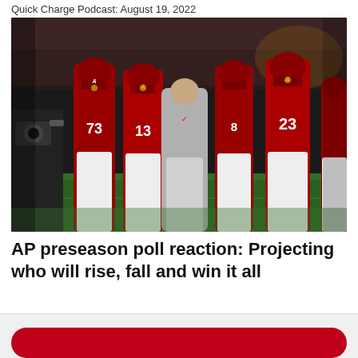Quick Charge Podcast: August 19, 2022
[Figure (photo): Alabama football coach leading players onto the field in red uniforms; jersey numbers 73, 13, 23 visible; camera operator on left side]
AP preseason poll reaction: Projecting who will rise, fall and win it all